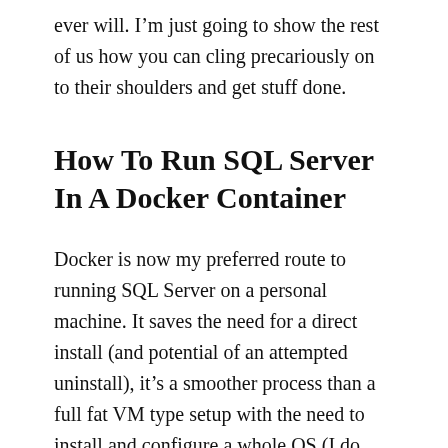ever will. I'm just going to show the rest of us how you can cling precariously on to their shoulders and get stuff done.
How To Run SQL Server In A Docker Container
Docker is now my preferred route to running SQL Server on a personal machine. It saves the need for a direct install (and potential of an attempted uninstall), it's a smoother process than a full fat VM type setup with the need to install and configure a whole OS (I do miss the days when Microsoft provided a complete image with a 180 day time limit). It has a